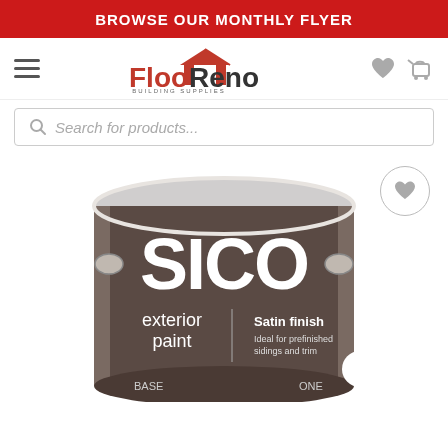BROWSE OUR MONTHLY FLYER
[Figure (logo): FlooReno Building Supplies logo with house icon, hamburger menu, heart and cart icons]
Search for products...
[Figure (photo): SICO exterior paint can, satin finish, ideal for prefinished sidings and trim]